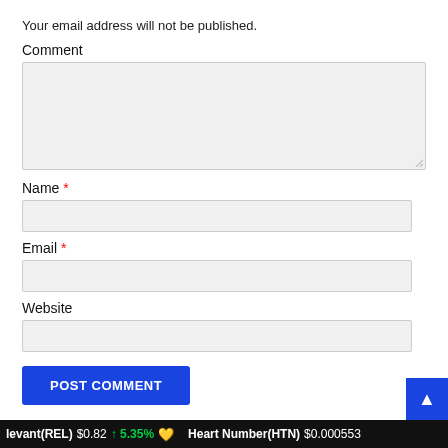Your email address will not be published.
Comment
Name *
Email *
Website
POST COMMENT
levant(REL) $0.82 ↑ 5.35% 🧡 Heart Number(HTN) $0.000553